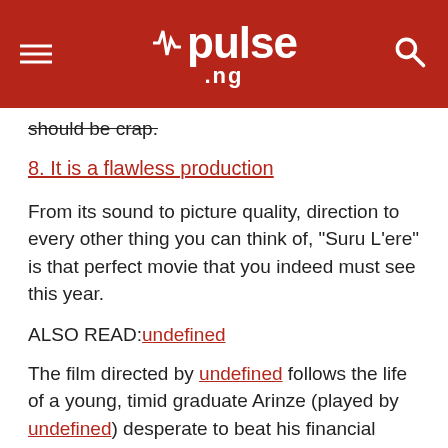pulse.ng
should be crap.
8. It is a flawless production
From its sound to picture quality, direction to every other thing you can think of, "Suru L'ere" is that perfect movie that you indeed must see this year.
ALSO READ: undefined
The film directed by undefined follows the life of a young, timid graduate Arinze (played by undefined) desperate to beat his financial burdens. In his journey, he meets a charming go-getter Omosigho (played by undefined). Their meeting shoots off a series of events that pressure Arinze into a get rich quick scheme.